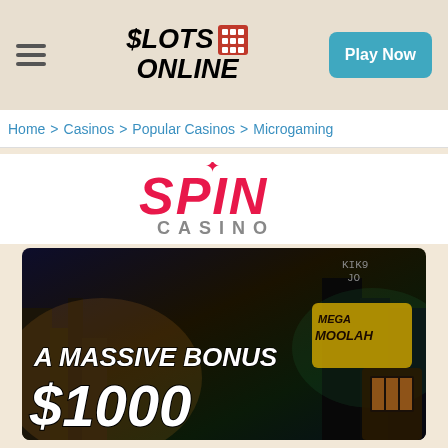$SLOTS ONLINE | Play Now
Home > Casinos > Popular Casinos > Microgaming
[Figure (logo): Spin Casino logo with red SPIN text and grey CASINO text below]
[Figure (photo): Casino promotional banner showing city background with text: A MASSIVE BONUS $1000]